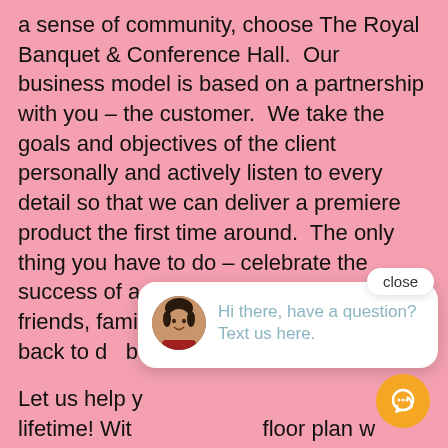a sense of community, choose The Royal Banquet & Conference Hall.  Our business model is based on a partnership with you – the customer.  We take the goals and objectives of the client personally and actively listen to every detail so that we can deliver a premiere product the first time around.  The only thing you have to do – celebrate the success of a perfect event! Tell your friends, family and colleagues, and come back to do business with us again soon.
Let us help you create a lifetime! With our flexible floor plan which can fulfill any need and requirement for ceremonies and receptions, the Royal Banquet & Conference Hall is the ideal location for any event of 10 to 800 guests.
[Figure (screenshot): A live chat popup widget showing a woman's avatar photo and the message 'Hi there, have a question? Text us here.' with a close button and an orange chat bubble icon.]